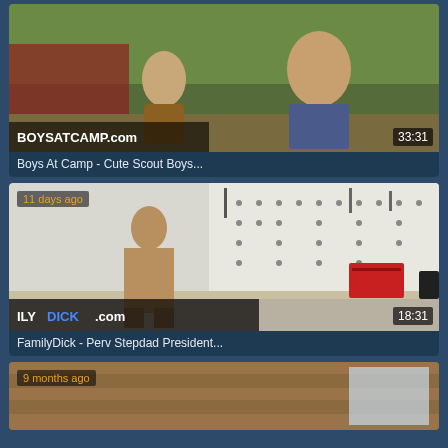[Figure (screenshot): Video thumbnail 1: Boys At Camp scene with duration 33:31, site watermark BOYSATCAMP.com]
Boys At Camp - Cute Scout Boys...
[Figure (screenshot): Video thumbnail 2: FamilyDick scene in workshop, posted 11 days ago, duration 18:31, watermark ILYDICK.com]
FamilyDick - Perv Stepdad President...
[Figure (screenshot): Video thumbnail 3: partial view, posted 9 months ago, wooden interior scene]